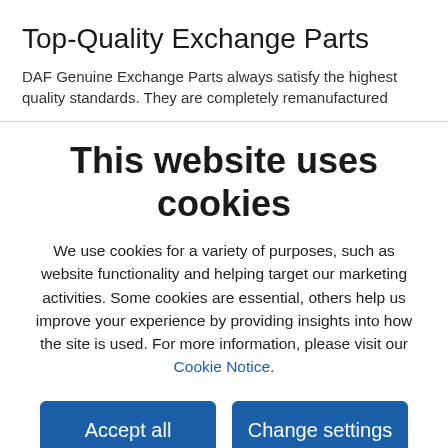Top-Quality Exchange Parts
DAF Genuine Exchange Parts always satisfy the highest quality standards. They are completely remanufactured
This website uses cookies
We use cookies for a variety of purposes, such as website functionality and helping target our marketing activities. Some cookies are essential, others help us improve your experience by providing insights into how the site is used. For more information, please visit our Cookie Notice.
Accept all
Change settings